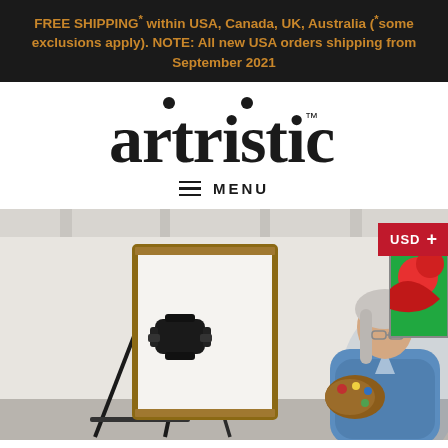FREE SHIPPING* within USA, Canada, UK, Australia (*some exclusions apply). NOTE: All new USA orders shipping from September 2021
[Figure (logo): Artristic brand logo in serif font with two dots above letters and trademark symbol]
≡ MENU
[Figure (photo): A woman with grey hair wearing a blue denim shirt sits at an easel holding a wooden palette, painting in a bright studio with a large green palm plant, a colourful floral painting, and rattan furniture in the background. A USD currency selector badge appears in the top right corner.]